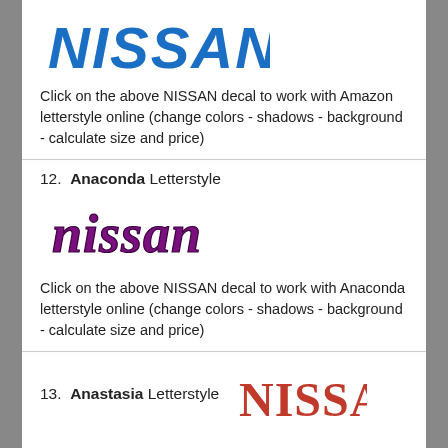[Figure (logo): NISSAN logo in blue italic bold font - Amazon letterstyle]
Click on the above NISSAN decal to work with Amazon letterstyle online (change colors - shadows - background - calculate size and price)
12.  Anaconda Letterstyle
[Figure (logo): nissan text logo in purple/dark magenta curvy Anaconda letterstyle font]
Click on the above NISSAN decal to work with Anaconda letterstyle online (change colors - shadows - background - calculate size and price)
13.  Anastasia Letterstyle
[Figure (logo): NISSAN logo in red serif font - Anastasia letterstyle - partially visible]